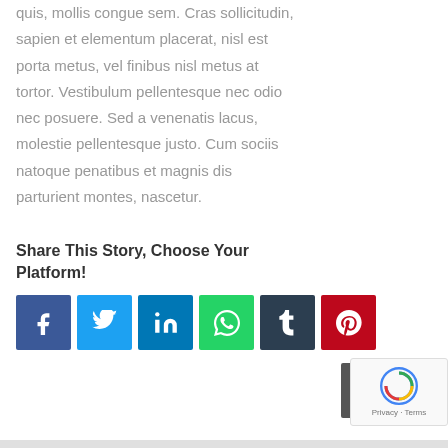quis, mollis congue sem. Cras sollicitudin, sapien et elementum placerat, nisl est porta metus, vel finibus nisl metus at tortor. Vestibulum pellentesque nec odio nec posuere. Sed a venenatis lacus, molestie pellentesque justo. Cum sociis natoque penatibus et magnis dis parturient montes, nascetur.
Share This Story, Choose Your Platform!
[Figure (infographic): Social media share buttons: Facebook, Twitter, LinkedIn, WhatsApp, Tumblr, Pinterest]